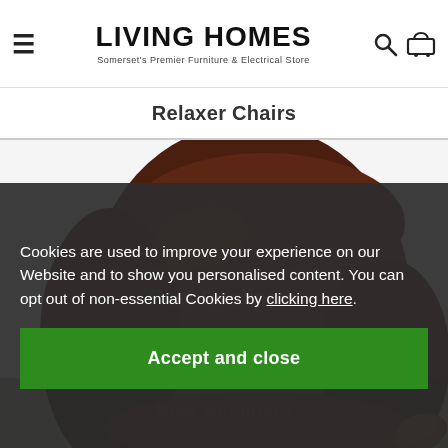LIVING HOMES — Somerset's Premier Furniture & Electrical Store
Relaxer Chairs
[Figure (photo): Close-up photo of a dark brown leather relaxer/recliner chair showing cushioned back and armrests with wooden arm ends, photographed from above-front angle on white background]
Cookies are used to improve your experience on our Website and to show you personalised content. You can opt out of non-essential Cookies by clicking here.
Accept and close